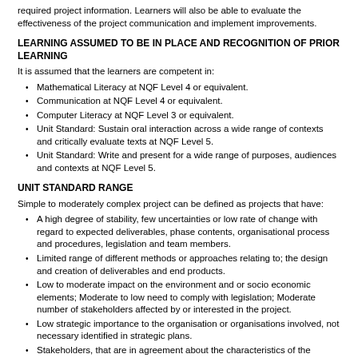required project information. Learners will also be able to evaluate the effectiveness of the project communication and implement improvements.
LEARNING ASSUMED TO BE IN PLACE AND RECOGNITION OF PRIOR LEARNING
It is assumed that the learners are competent in:
Mathematical Literacy at NQF Level 4 or equivalent.
Communication at NQF Level 4 or equivalent.
Computer Literacy at NQF Level 3 or equivalent.
Unit Standard: Sustain oral interaction across a wide range of contexts and critically evaluate texts at NQF Level 5.
Unit Standard: Write and present for a wide range of purposes, audiences and contexts at NQF Level 5.
UNIT STANDARD RANGE
Simple to moderately complex project can be defined as projects that have:
A high degree of stability, few uncertainties or low rate of change with regard to expected deliverables, phase contents, organisational process and procedures, legislation and team members.
Limited range of different methods or approaches relating to; the design and creation of deliverables and end products.
Low to moderate impact on the environment and or socio economic elements; Moderate to low need to comply with legislation; Moderate number of stakeholders affected by or interested in the project.
Low strategic importance to the organisation or organisations involved, not necessary identified in strategic plans.
Stakeholders, that are in agreement about the characteristics of the product of the project; Benefits of the project well defined and agreed.
Low number of different organisations participating in the project; A low number; and or wide variety of interfaces between the project and other